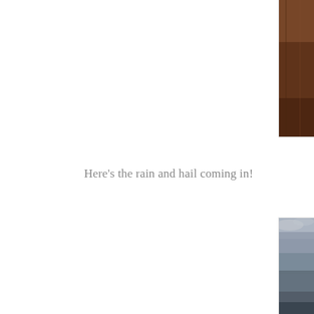[Figure (photo): Partial photo on upper right edge showing dark brown wooden structure or barn interior, cropped at page boundary]
Here's the rain and hail coming in!
[Figure (photo): Partial photo on lower right edge showing stormy overcast sky with dark clouds and landscape below, cropped at page boundary]